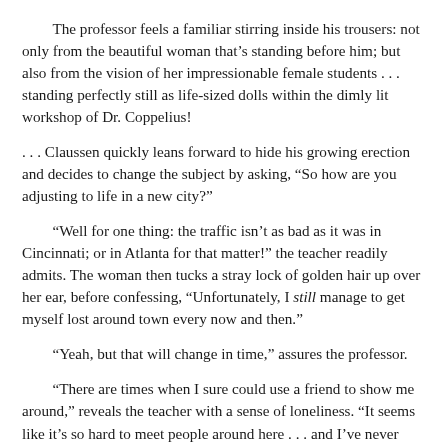The professor feels a familiar stirring inside his trousers: not only from the beautiful woman that's standing before him; but also from the vision of her impressionable female students . . . standing perfectly still as life-sized dolls within the dimly lit workshop of Dr. Coppelius!
. . . Claussen quickly leans forward to hide his growing erection and decides to change the subject by asking, “So how are you adjusting to life in a new city?”
“Well for one thing: the traffic isn’t as bad as it was in Cincinnati; or in Atlanta for that matter!” the teacher readily admits. The woman then tucks a stray lock of golden hair up over her ear, before confessing, “Unfortunately, I still manage to get myself lost around town every now and then.”
“Yeah, but that will change in time,” assures the professor.
“There are times when I sure could use a friend to show me around,” reveals the teacher with a sense of loneliness. “It seems like it’s so hard to meet people around here . . . and I’ve never really been the hang-around-the-bar type.”
The forty-two year old paused for a moment, as if carefully considering what she was about to say. The woman had practiced